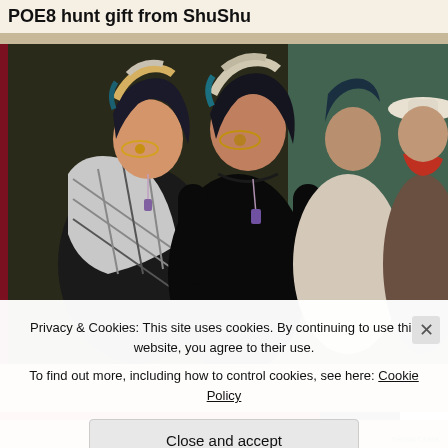POE8 hunt gift from ShuShu
[Figure (photo): A group of stylized 3D-rendered female avatars from a virtual world (likely Second Life). The foreground shows two women with dramatic multicolored hair (black, teal, blonde streaks) and wearing ornate jewelry including purple crystal pendants. The left figure wears a plaid/tartan wrap over a black outfit. The center figure wears an all-black long-sleeve dress. Background figures wear lighter outfits including a cream/beige mini dress and what appears to be a brown textured outfit with a white hat and red scarf.]
Privacy & Cookies: This site uses cookies. By continuing to use this website, you agree to their use.
To find out more, including how to control cookies, see here: Cookie Policy
Close and accept